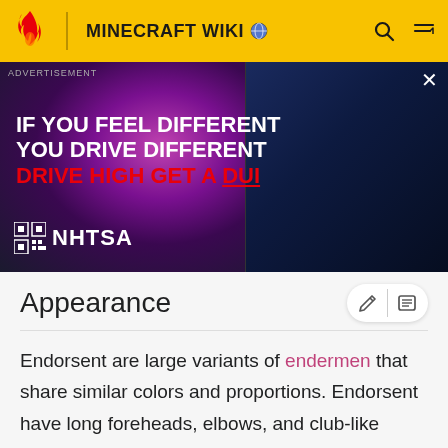MINECRAFT WIKI
[Figure (photo): NHTSA advertisement: 'IF YOU FEEL DIFFERENT YOU DRIVE DIFFERENT DRIVE HIGH GET A DUI' with images of people under colored lights]
Appearance
Endorsent are large variants of endermen that share similar colors and proportions. Endorsent have long foreheads, elbows, and club-like hands. Each of the six enchanted Endorsent guards an eye of ender on their chest.